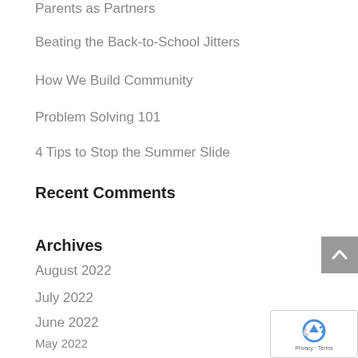Parents as Partners
Beating the Back-to-School Jitters
How We Build Community
Problem Solving 101
4 Tips to Stop the Summer Slide
Recent Comments
Archives
August 2022
July 2022
June 2022
May 2022
April 2022